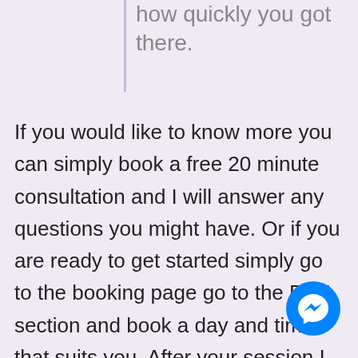how fantastic you feel and just how quickly you got there.
If you would like to know more you can simply book a free 20 minute consultation and I will answer any questions you might have. Or if you are ready to get started simply go to the booking page go to the RTT section and book a day and time that suits you. After your session I continue to support and mentor you to help you get the changes you want. The RTT session and personal mentoring is normally $300, but limited time I am offer a special for only $2